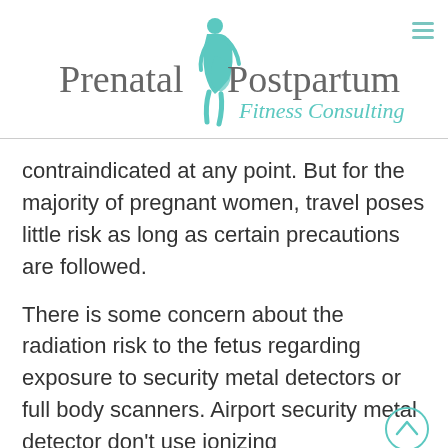[Figure (logo): Prenatal & Postpartum Fitness Consulting logo with teal figure of pregnant woman]
contraindicated at any point. But for the majority of pregnant women, travel poses little risk as long as certain precautions are followed.
There is some concern about the radiation risk to the fetus regarding exposure to security metal detectors or full body scanners. Airport security metal detector don't use ionizing